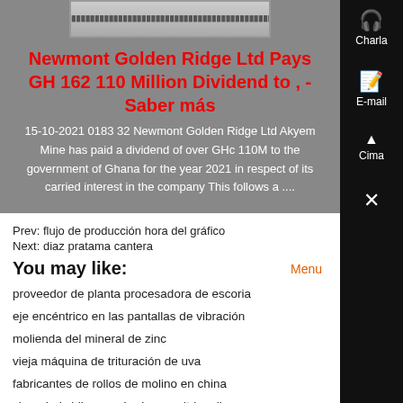[Figure (photo): Decorative header image, appears to be a banner with text/pattern]
Newmont Golden Ridge Ltd Pays GH 162 110 Million Dividend to , - Saber más
15-10-2021 0183 32 Newmont Golden Ridge Ltd Akyem Mine has paid a dividend of over GHc 110M to the government of Ghana for the year 2021 in respect of its carried interest in the company This follows a ....
Prev: flujo de producción hora del gráfico
Next: diaz pratama cantera
You may like:
proveedor de planta procesadora de escoria
eje encéntrico en las pantallas de vibración
molienda del mineral de zinc
vieja máquina de trituración de uva
fabricantes de rollos de molino en china
shanghai shibang máquinas co ltd molinos